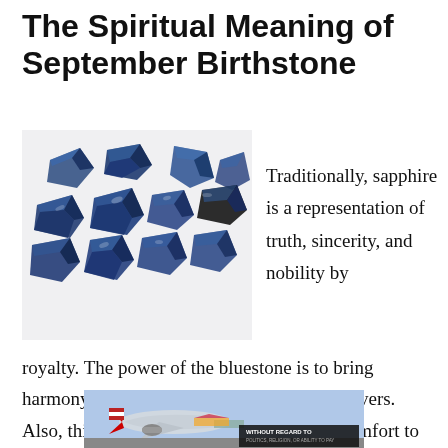The Spiritual Meaning of September Birthstone
[Figure (photo): Multiple raw blue sapphire gemstones arranged on a white background]
Traditionally, sapphire is a representation of truth, sincerity, and nobility by royalty. The power of the bluestone is to bring harmony, peace, and faithfulness between lovers. Also, this gem brings joy, prosperity, and comfort to those who wear a
[Figure (photo): Advertisement banner showing an airplane being loaded with cargo, with text 'WITHOUT REGARD TO POLITICS, RELIGION, OR ABILITY TO PAY']